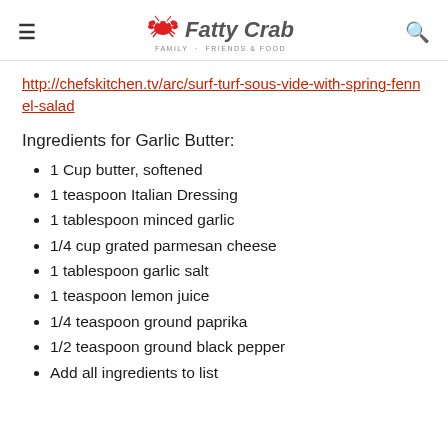Fatty Crab — Family · Friends & Food
http://chefskitchen.tv/arc/surf-turf-sous-vide-with-spring-fennel-salad
Ingredients for Garlic Butter:
1 Cup butter, softened
1 teaspoon Italian Dressing
1 tablespoon minced garlic
1/4 cup grated parmesan cheese
1 tablespoon garlic salt
1 teaspoon lemon juice
1/4 teaspoon ground paprika
1/2 teaspoon ground black pepper
Add all ingredients to list